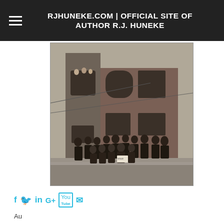RJHUNEKE.COM | OFFICIAL SITE OF AUTHOR R.J. HUNEKE
[Figure (photo): Black and white historical photograph of a group of men and boys posing in front of a multi-story brick building. Some people are visible looking out from a window on the upper floor. One person in the group holds a sign. The scene appears to be from the early 20th century.]
f  in G+  You  (email icon)
Au